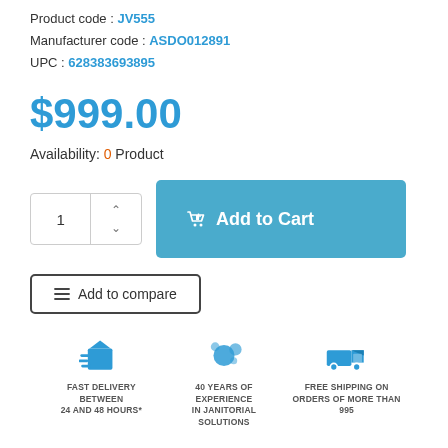Product code : JV555
Manufacturer code : ASDO012891
UPC : 628383693895
$999.00
Availability: 0 Product
Add to Cart
Add to compare
[Figure (infographic): Three blue icons with captions: Fast delivery between 24 and 48 hours, 40 years of experience in janitorial solutions, Free shipping on orders of more than $95]
FAST DELIVERY BETWEEN 24 AND 48 HOURS*
40 YEARS OF EXPERIENCE IN JANITORIAL SOLUTIONS
FREE SHIPPING ON ORDERS OF MORE THAN 995